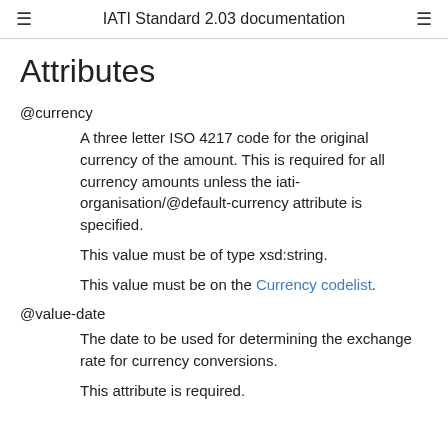IATI Standard 2.03 documentation
Attributes
@currency
A three letter ISO 4217 code for the original currency of the amount. This is required for all currency amounts unless the iati-organisation/@default-currency attribute is specified.
This value must be of type xsd:string.
This value must be on the Currency codelist.
@value-date
The date to be used for determining the exchange rate for currency conversions.
This attribute is required.